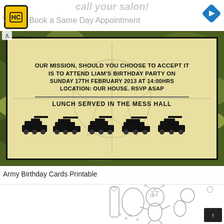call your salon!
[Figure (logo): HC logo yellow square with black border]
[Figure (other): Blue diamond navigation arrow pointing right]
Book a Same Day Appointment
[Figure (photo): Army birthday party invitation card with camouflage background. Text reads: OUR MISSION, SHOULD YOU CHOOSE TO ACCEPT IT IS TO ATTEND LIAM'S BIRTHDAY PARTY ON SUNDAY 17TH FEBRUARY 2013 AT 14:00HRS LOCATION: OUR HOUSE. RSVP ASAP LUNCH SERVED IN THE MESS HALL. Military vehicle silhouettes at bottom.]
Army Birthday Cards Printable
[Figure (illustration): Coloring book style illustration with cartoon alien/creature characters and dot-to-dot elements]